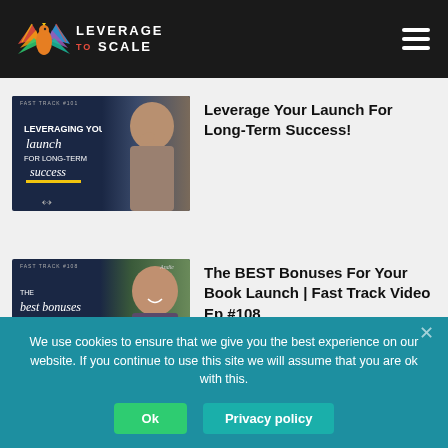LEVERAGE TO SCALE
[Figure (screenshot): Thumbnail for 'Leverage Your Launch For Long-Term Success!' showing dark blue background with script text and woman photo]
Leverage Your Launch For Long-Term Success!
[Figure (screenshot): Thumbnail for 'The BEST Bonuses For Your Book Launch | Fast Track Video Ep #108' with dark background and smiling woman photo]
The BEST Bonuses For Your Book Launch | Fast Track Video Ep #108
We use cookies to ensure that we give you the best experience on our website. If you continue to use this site we will assume that you are ok with this.